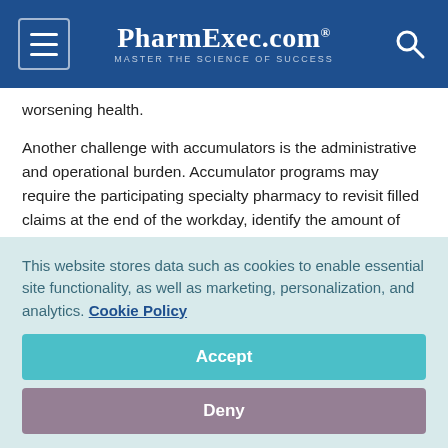PharmExec.com — MASTER THE SCIENCE OF SUCCESS
worsening health.
Another challenge with accumulators is the administrative and operational burden. Accumulator programs may require the participating specialty pharmacy to revisit filled claims at the end of the workday, identify the amount of manufacturer copay assistance for each prescription, and then send data to the plan or PBM so the patient's deductible/out of pocket can be adjusted accordingly. As the number of claims increases,
This website stores data such as cookies to enable essential site functionality, as well as marketing, personalization, and analytics. Cookie Policy
Accept
Deny